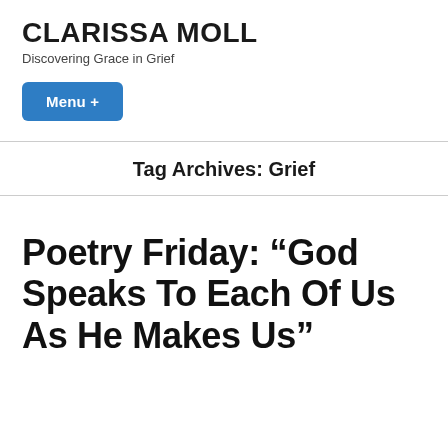CLARISSA MOLL
Discovering Grace in Grief
Menu +
Tag Archives: Grief
Poetry Friday: “God Speaks To Each Of Us As He Makes Us”